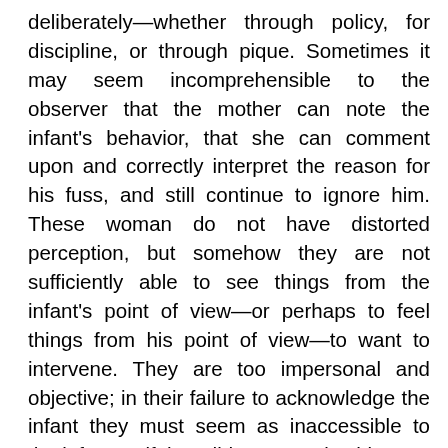deliberately—whether through policy, for discipline, or through pique. Sometimes it may seem incomprehensible to the observer that the mother can note the infant's behavior, that she can comment upon and correctly interpret the reason for his fuss, and still continue to ignore him. These woman do not have distorted perception, but somehow they are not sufficiently able to see things from the infant's point of view—or perhaps to feel things from his point of view—to want to intervene. They are too impersonal and objective; in their failure to acknowledge the infant they must seem as inaccessible to the infant as if they did not perceive him.